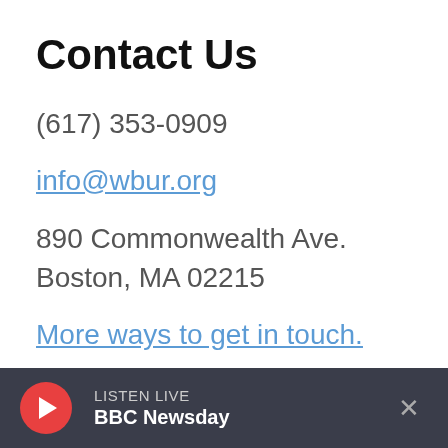Contact Us
(617) 353-0909
info@wbur.org
890 Commonwealth Ave.
Boston, MA 02215
More ways to get in touch.
About WBUR
Who We Are
LISTEN LIVE  BBC Newsday